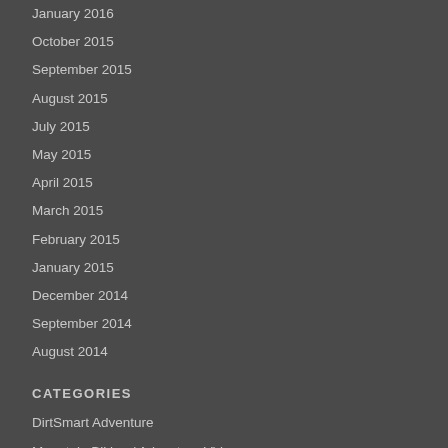January 2016
October 2015
September 2015
August 2015
July 2015
May 2015
April 2015
March 2015
February 2015
January 2015
December 2014
September 2014
August 2014
CATEGORIES
DirtSmart Adventure
Mountain Biking / Adventure Video